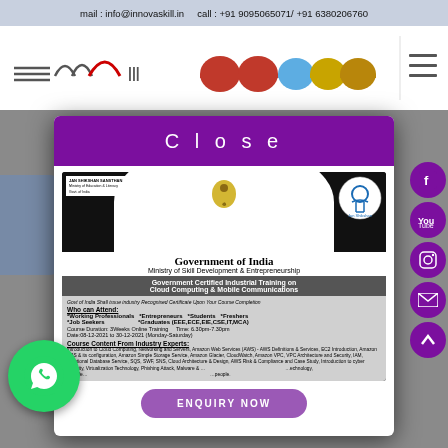mail : info@innovaskill.in   call : +91 9095065071/ +91 6380206760
[Figure (screenshot): InnovaSkill website navigation bar with logo, colored dome icons, and hamburger menu]
[Figure (screenshot): Modal overlay with purple Close header and Government of India Ministry of Skill Development certificate for Cloud Computing & Mobile Communications training, including who can attend, course duration, course content, and Enquiry Now button]
[Figure (illustration): Social media sidebar buttons (Facebook, YouTube, Instagram, Email, Up arrow) in purple circles on right side]
[Figure (illustration): WhatsApp green circle button at bottom left]